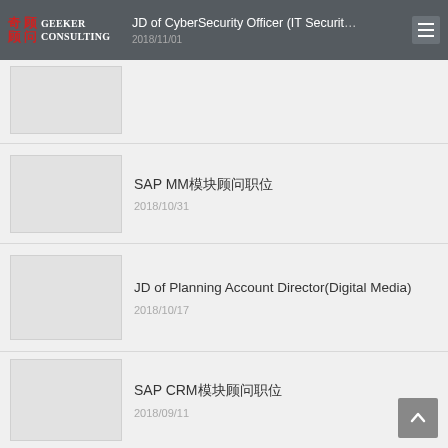JD of CyberSecurity Officer (IT Security) | 2018/11/01 | Geeker Consulting
[Figure (other): Thumbnail image placeholder for CyberSecurity Officer post]
JD of CyberSecurity Officer (IT Security)
2018/11/01
[Figure (other): Thumbnail image placeholder for SAP MM post]
SAP MM模块顾问职位
2018/10/31
[Figure (other): Thumbnail image placeholder for Planning Account Director post]
JD of Planning Account Director(Digital Media)
2018/10/17
[Figure (other): Thumbnail image placeholder for SAP CRM post]
SAP CRM模块顾问职位
2018/09/11